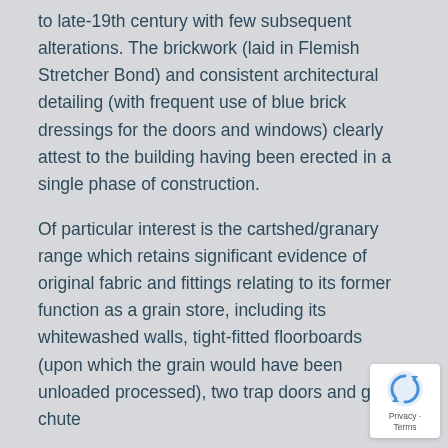to late-19th century with few subsequent alterations. The brickwork (laid in Flemish Stretcher Bond) and consistent architectural detailing (with frequent use of blue brick dressings for the doors and windows) clearly attest to the building having been erected in a single phase of construction.
Of particular interest is the cartshed/granary range which retains significant evidence of original fabric and fittings relating to its former function as a grain store, including its whitewashed walls, tight-fitted floorboards (upon which the grain would have been unloaded processed), two trap doors and grain chute